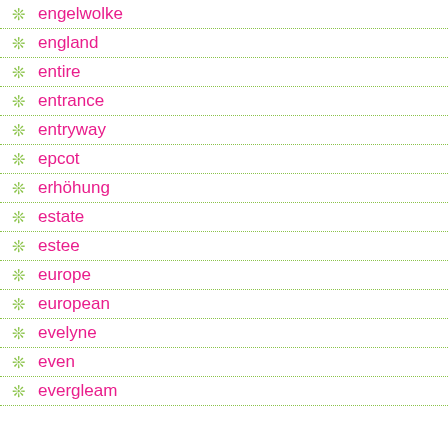engelwolke
england
entire
entrance
entryway
epcot
erhöhung
estate
estee
europe
european
evelyne
even
evergleam